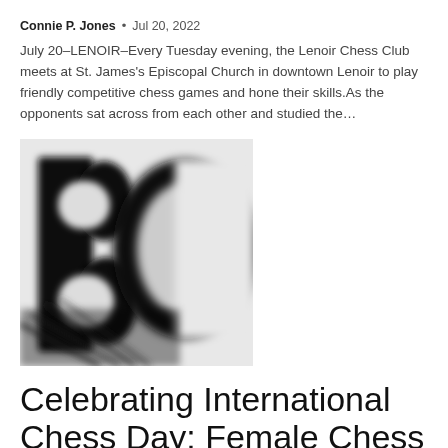Connie P. Jones · Jul 20, 2022
July 20–LENOIR–Every Tuesday evening, the Lenoir Chess Club meets at St. James's Episcopal Church in downtown Lenoir to play friendly competitive chess games and hone their skills.As the opponents sat across from each other and studied the…
[Figure (photo): Close-up black and white blurred image showing large bold letters, appearing to be part of a chess or news logo.]
Celebrating International Chess Day: Female Chess Players at the Forefront of the World